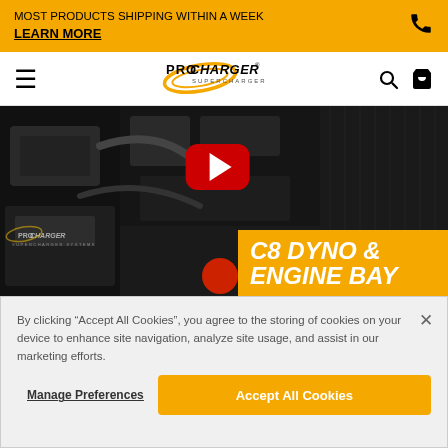MOST PRODUCTS SHIPPING WITHIN A WEEK
LEARN MORE
[Figure (logo): ProCharger Superchargers logo in navbar]
[Figure (screenshot): Video thumbnail showing C8 engine bay with ProCharger supercharger, YouTube play button overlay, and text overlay reading C8 DYNO & ENGINE BAY on gold background]
By clicking "Accept All Cookies", you agree to the storing of cookies on your device to enhance site navigation, analyze site usage, and assist in our marketing efforts.